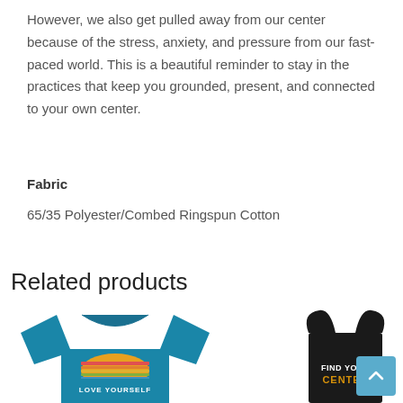However, we also get pulled away from our center because of the stress, anxiety, and pressure from our fast-paced world. This is a beautiful reminder to stay in the practices that keep you grounded, present, and connected to your own center.
Fabric
65/35 Polyester/Combed Ringspun Cotton
Related products
[Figure (photo): Blue t-shirt with a retro sunset graphic and text 'LOVE YOURSELF']
[Figure (photo): Black racerback tank top with text 'FIND YOUR CENTER' in white and gold lettering]